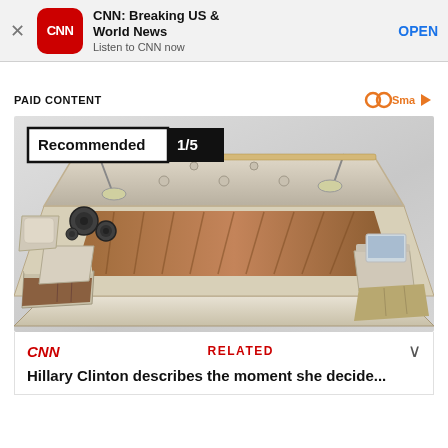[Figure (screenshot): CNN app download banner with CNN logo icon, app title 'CNN: Breaking US & World News', subtitle 'Listen to CNN now', and OPEN button]
PAID CONTENT
[Figure (logo): Smartfeed logo with infinity-like orange icon and play arrow]
[Figure (photo): A luxury smart bed with built-in speakers, massage chairs, storage drawers, and various accessories. Badge overlay reads 'Recommended 1/5']
[Figure (screenshot): CNN related content bar showing CNN logo in red, RELATED label in red, chevron down arrow, and headline 'Hillary Clinton describes the moment she decide...']